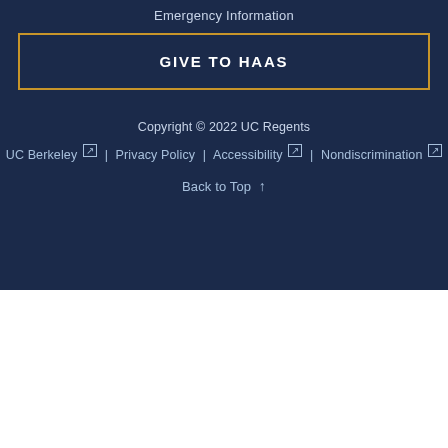Emergency Information
GIVE TO HAAS
Copyright © 2022 UC Regents
UC Berkeley [external] | Privacy Policy | Accessibility [external] | Nondiscrimination [external]
Back to Top ↑